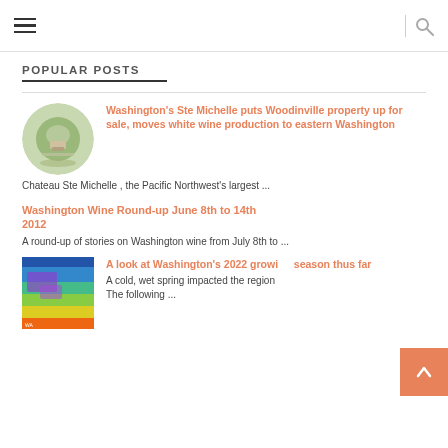≡  |  🔍
POPULAR POSTS
[Figure (photo): Aerial circular thumbnail photo of Chateau Ste Michelle winery property]
Washington's Ste Michelle puts Woodinville property up for sale, moves white wine production to eastern Washington
Chateau Ste Michelle , the Pacific Northwest's largest ...
Washington Wine Round-up June 8th to 14th 2012
A round-up of stories on Washington wine from July 8th to ...
[Figure (photo): Colorful weather/growing season map thumbnail of Washington state]
A look at Washington's 2022 growing season thus far
A cold, wet spring impacted the region The following ...